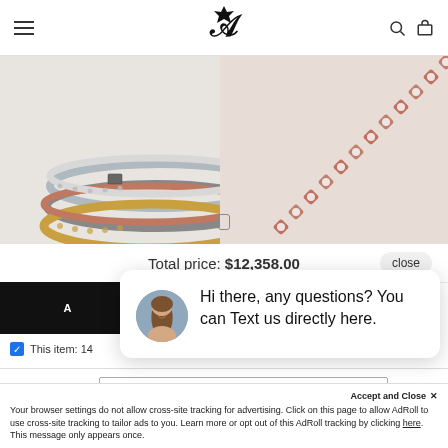≡  [Logo: Diamond A]  🔍 🛍
[Figure (photo): Two product images of diamond tennis bracelets — left shows stacked multi-color bracelets with a clasp, right shows a close-up of a rose gold tennis bracelet with round diamonds.]
Total price: $12,358.00
[Figure (photo): Black 'Add to Cart' button (partially visible)]
☑ This item: 14...
Bracelet 6.50 Ctw  White Gold / 5.0 inches – 11.8 g ▾  $4,223.00
10k Rose Gold Tennis Chain - 12.50 ...
[Figure (screenshot): Chat popup with female avatar and message: Hi there, any questions? You can Text us directly here.]
Your browser settings do not allow cross-site tracking for advertising. Click on this page to allow AdRoll to use cross-site tracking to tailor ads to you. Learn more or opt out of this AdRoll tracking by clicking here. This message only appears once.